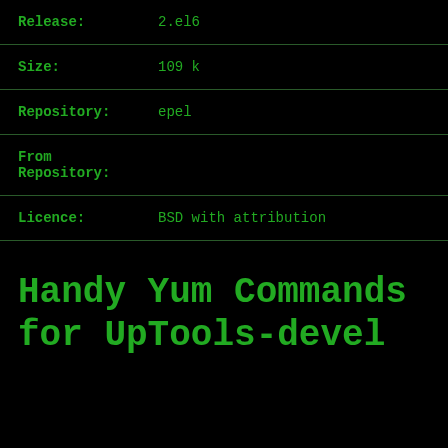Release:    2.el6
Size:       109 k
Repository: epel
From Repository:
Licence:    BSD with attribution
Handy Yum Commands for UpTools-devel